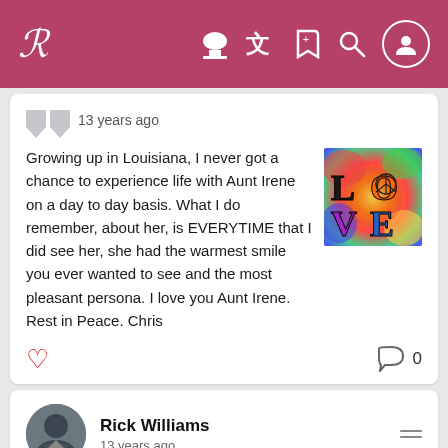R [navigation bar with icons]
13 years ago
Growing up in Louisiana, I never got a chance to experience life with Aunt Irene on a day to day basis. What I do remember, about her, is EVERYTIME that I did see her, she had the warmest smile you ever wanted to see and the most pleasant persona. I love you Aunt Irene. Rest in Peace. Chris
[Figure (photo): Colorful 'LOVE' text art image with peace symbol, rainbow tie-dye style background]
❤ (heart icon) | 0 comments
Rick Williams
13 years ago